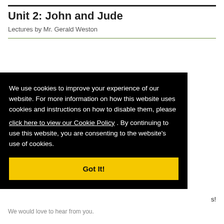Unit 2: John and Jude
Lectures by Mr. Gerald Weston
We use cookies to improve your experience of our website. For more information on how this website uses cookies and instructions on how to disable them, please click here to view our Cookie Policy . By continuing to use this website, you are consenting to the website's use of cookies.
Got It!
We would love to hear from you.